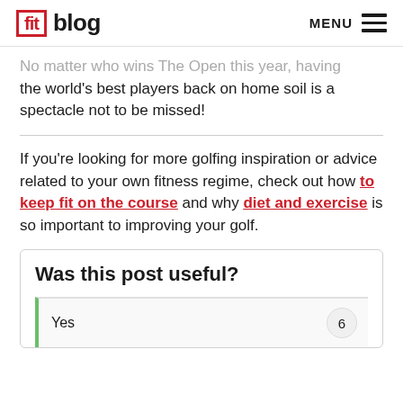fit blog | MENU
No matter who wins The Open this year, having the world's best players back on home soil is a spectacle not to be missed!
If you're looking for more golfing inspiration or advice related to your own fitness regime, check out how to keep fit on the course and why diet and exercise is so important to improving your golf.
Was this post useful?
|  |  |
| --- | --- |
| Yes | 6 |